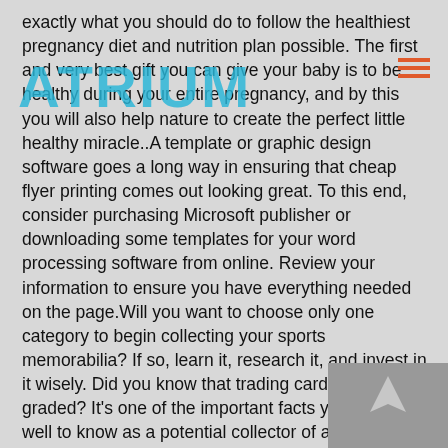exactly what you should do to follow the healthiest pregnancy diet and nutrition plan possible. The first and very best gift you can give your baby is to be healthy during your entire pregnancy, and by this you will also help nature to create the perfect little healthy miracle..A template or graphic design software goes a long way in ensuring that cheap flyer printing comes out looking great. To this end, consider purchasing Microsoft publisher or downloading some templates for your word processing software from online. Review your information to ensure you have everything needed on the page.Will you want to choose only one category to begin collecting your sports memorabilia? If so, learn it, research it, and invest in it wisely. Did you know that trading cards have to be graded? It's one of the important facts you would do well to know as a potential collector of authentic, valuable sports items. For instance, a Dallas cowboy's jersey may not be of any value whatsoever to a New York Yankees fan.This may end up being challenging for those females (especially all those within higher school) nonetheless lightening through to that facial foundation will clearly in all probability aid control your own outbreaks. Not just will be the pieces within nearly all facial foundation products and solutions harmful to your skin layer nonetheless employing facial foundation signifies coming